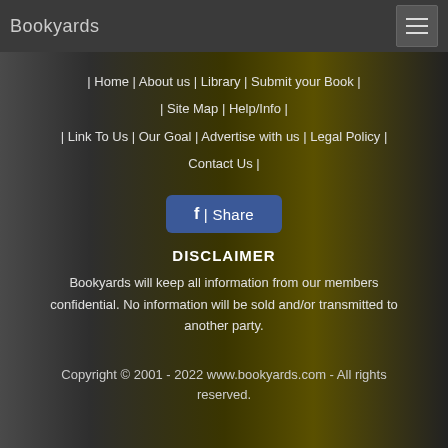Bookyards
| Home | About us | Library | Submit your Book | Site Map | Help/Info | | Link To Us | Our Goal | Advertise with us | Legal Policy | Contact Us |
[Figure (other): Facebook share button with 'f | Share' text on blue background]
DISCLAIMER
Bookyards will keep all information from our members confidential. No information will be sold and/or transmitted to another party.
Copyright © 2001 - 2022 www.bookyards.com - All rights reserved.